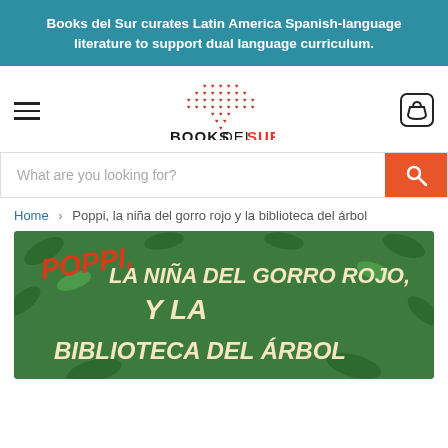Books del Sur curates Latin America Spanish-language literature to support dual language curriculum.
[Figure (logo): Books del Sur logo with red dot-cross pattern above text reading BOOKSDEL SUR in black and red]
What are you looking for?
Home > Poppi, la niña del gorro rojo y la biblioteca del árbol
[Figure (photo): Green book cover with title text: POPPI, LA NIÑA DEL GORRO ROJO, Y LA BIBLIOTECA DEL ÁRBOL in red and cream letters on leafy green background]